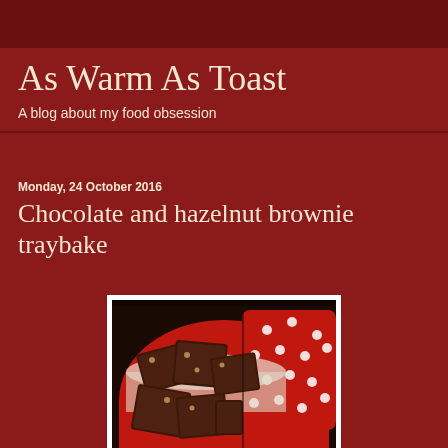As Warm As Toast
A blog about my food obsession
Monday, 24 October 2016
Chocolate and hazelnut brownie traybake
[Figure (photo): Chocolate brownies in a red polka dot tin with the lid partially visible]